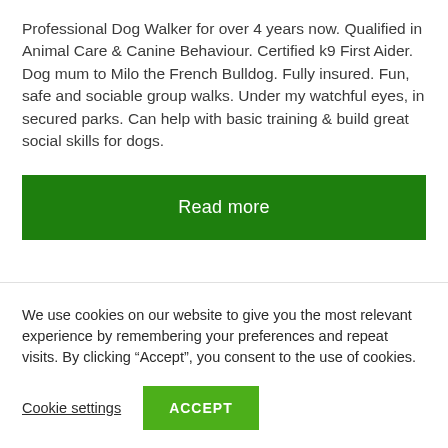Professional Dog Walker for over 4 years now. Qualified in Animal Care & Canine Behaviour. Certified k9 First Aider. Dog mum to Milo the French Bulldog. Fully insured. Fun, safe and sociable group walks. Under my watchful eyes, in secured parks. Can help with basic training & build great social skills for dogs.
Read more
We use cookies on our website to give you the most relevant experience by remembering your preferences and repeat visits. By clicking “Accept”, you consent to the use of cookies.
Cookie settings
ACCEPT